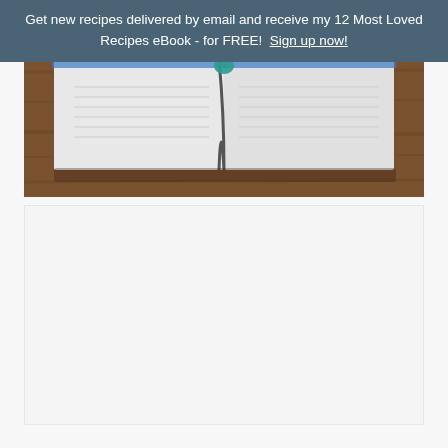Get new recipes delivered by email and receive my 12 Most Loved Recipes eBook - for FREE!  Sign up now!
[Figure (photo): An open book or recipe book lying on a wooden table, viewed from the side showing the pages and spine, with a blue cover partially visible.]
[Figure (other): A white/light grey rectangular area below the photo, likely a content block or advertisement space.]